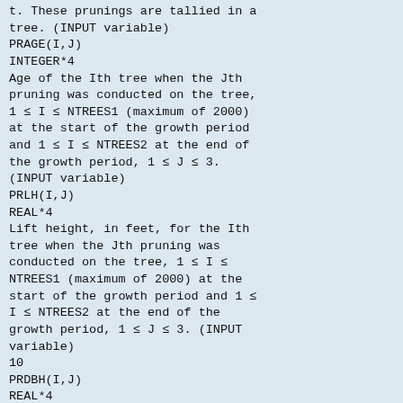t. These prunings are tallied in a tree. (INPUT variable)
PRAGE(I,J)
INTEGER*4
Age of the Ith tree when the Jth pruning was conducted on the tree, 1 ≤ I ≤ NTREES1 (maximum of 2000) at the start of the growth period and 1 ≤ I ≤ NTREES2 at the end of the growth period, 1 ≤ J ≤ 3. (INPUT variable)
PRLH(I,J)
REAL*4
Lift height, in feet, for the Ith tree when the Jth pruning was conducted on the tree, 1 ≤ I ≤ NTREES1 (maximum of 2000) at the start of the growth period and 1 ≤ I ≤ NTREES2 at the end of the growth period, 1 ≤ J ≤ 3. (INPUT variable)
10
PRDBH(I,J)
REAL*4
DBH of the Ith tree when the Jth pruning was conducted on the tree, 1 ≤ I ≤ NTREES1 (maximum of 2000) at the start of the growth period and 1 ≤ I ≤ NTREES2 at the end of the growth period, 1 ≤ J ≤ 3. (INPUT variable)
PRHT(I,J)
REAL*4